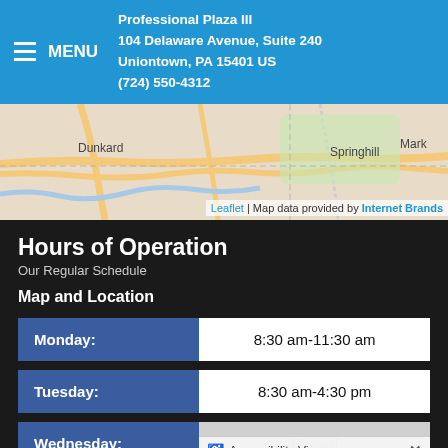MENU | Professional Plaza III
104 Delaware Avenue, Suite 240
Uniontown, PA 15401 US
(724) 550-4312
[Figure (map): Street map showing area around Springhill and Dunkard, with map credit to Leaflet and Internet Brands]
Hours of Operation
Our Regular Schedule
Map and Location
| Day | Hours |
| --- | --- |
| Monday: | 8:30 am-11:30 am |
| Tuesday: | 8:30 am-4:30 pm |
| Wednesday: | Closed |